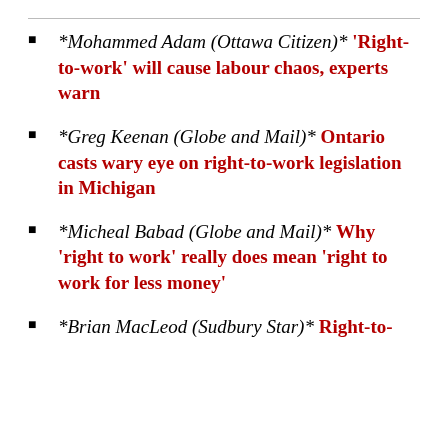*Mohammed Adam (Ottawa Citizen)* 'Right-to-work' will cause labour chaos, experts warn
*Greg Keenan (Globe and Mail)* Ontario casts wary eye on right-to-work legislation in Michigan
*Micheal Babad (Globe and Mail)* Why 'right to work' really does mean 'right to work for less money'
*Brian MacLeod (Sudbury Star)* Right-to-work...